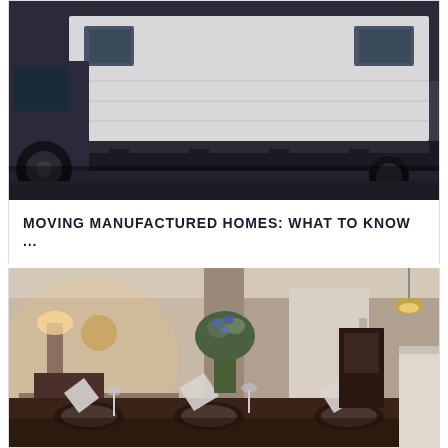[Figure (photo): A large manufactured home being transported on a flatbed truck on a road, viewed from the side showing the white home structure and truck wheels]
MOVING MANUFACTURED HOMES: WHAT TO KNOW ...
[Figure (photo): Interior of a manufactured home showing a dining table set with elegant place settings in the foreground, an open floor plan with living room, pendant lighting, and hallway visible in the background]